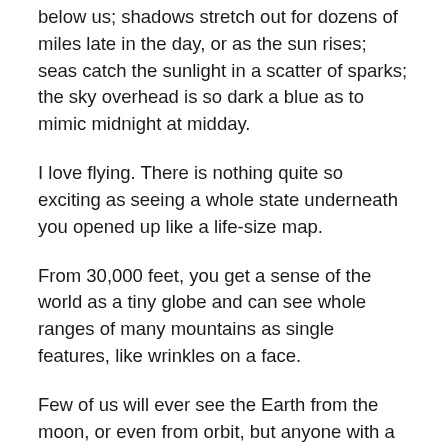below us; shadows stretch out for dozens of miles late in the day, or as the sun rises; seas catch the sunlight in a scatter of sparks; the sky overhead is so dark a blue as to mimic midnight at midday.
I love flying. There is nothing quite so exciting as seeing a whole state underneath you opened up like a life-size map.
From 30,000 feet, you get a sense of the world as a tiny globe and can see whole ranges of many mountains as single features, like wrinkles on a face.
Few of us will ever see the Earth from the moon, or even from orbit, but anyone with a boarding pass can have his sensibility slapped silly with the incredible beauty of the planet.